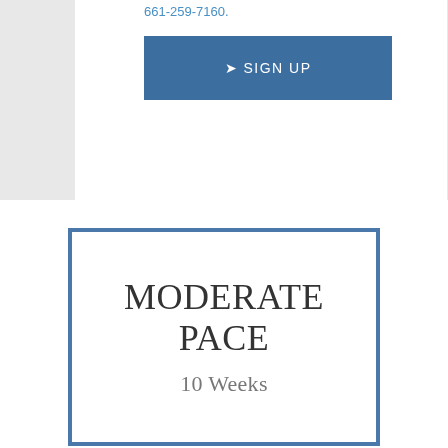661-259-7160.
➔ SIGN UP
MODERATE PACE
10 Weeks